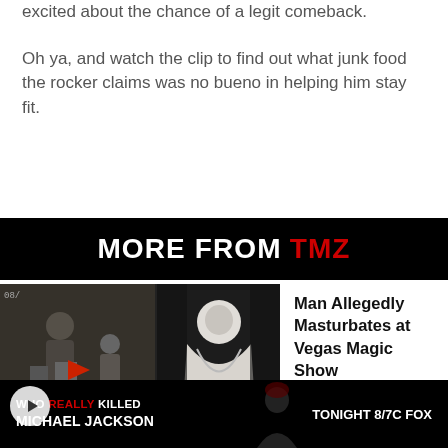excited about the chance of a legit comeback.

Oh ya, and watch the clip to find out what junk food the rocker claims was no bueno in helping him stay fit.
MORE FROM TMZ
[Figure (photo): Two-panel news thumbnail: left panel shows grainy security camera footage of a person at a counter with a red arrow indicator; right panel shows a person wrapped in cloth/costume. A circular play button is visible at bottom left.]
Man Allegedly Masturbates at Vegas Magic Show
[Figure (photo): Advertisement banner: black background with text 'WHO REALLY KILLED MICHAEL JACKSON' in white and red, with a silhouette image and 'TONIGHT 8/7c FOX' text on the right.]